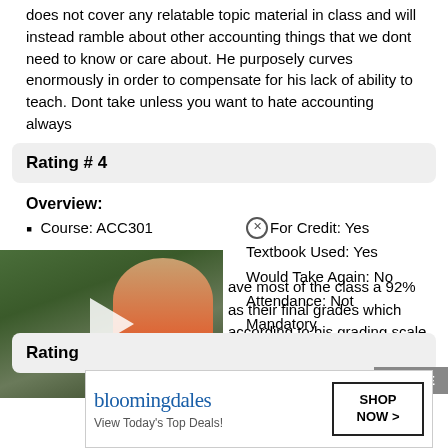does not cover any relatable topic material in class and will instead ramble about other accounting things that we dont need to know or care about. He purposely curves enormously in order to compensate for his lack of ability to teach. Dont take unless you want to hate accounting always
Rating # 4
Overview:
Course: ACC301
For Credit: Yes
Textbook Used: Yes
Would Take Again: No
Attendance: Not Mandatory
[Figure (photo): Video thumbnail showing a girl with long brown hair wearing a pink shirt, outdoors with trees in background. A play button overlay is shown.]
ave most of the class a 92% as their final grades which according to his grading scale is a B+. Good luck getting an A in this class, it was easy but if you want the grade you deserve take someone else.
Rating
[Figure (screenshot): Bloomingdales advertisement: 'View Today's Top Deals!' with SHOP NOW > button]